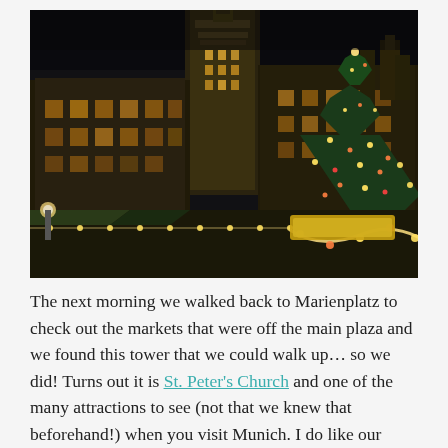[Figure (photo): Nighttime photo of Marienplatz in Munich, showing the illuminated New Town Hall (Neues Rathaus) with its tall Gothic tower, and a Christmas market with lights and decorated trees in the foreground.]
The next morning we walked back to Marienplatz to check out the markets that were off the main plaza and we found this tower that we could walk up… so we did! Turns out it is St. Peter's Church and one of the many attractions to see (not that we knew that beforehand!) when you visit Munich. I do like our style of sightseeing